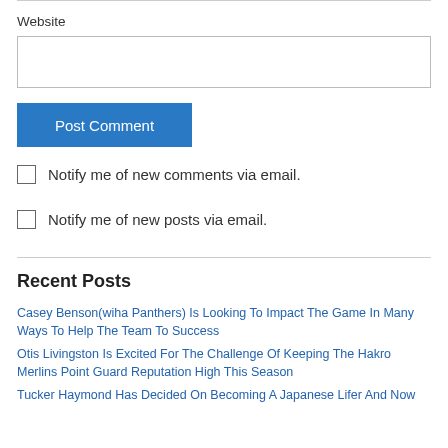Website
Post Comment
Notify me of new comments via email.
Notify me of new posts via email.
Recent Posts
Casey Benson(wiha Panthers) Is Looking To Impact The Game In Many Ways To Help The Team To Success
Otis Livingston Is Excited For The Challenge Of Keeping The Hakro Merlins Point Guard Reputation High This Season
Tucker Haymond Has Decided On Becoming A Japanese Lifer And Now